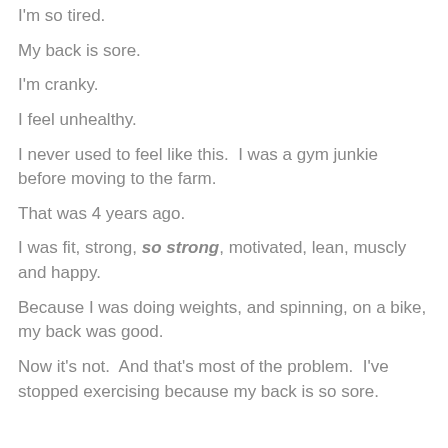I'm so tired.
My back is sore.
I'm cranky.
I feel unhealthy.
I never used to feel like this.  I was a gym junkie before moving to the farm.
That was 4 years ago.
I was fit, strong, so strong, motivated, lean, muscly and happy.
Because I was doing weights, and spinning, on a bike, my back was good.
Now it's not.  And that's most of the problem.  I've stopped exercising because my back is so sore.